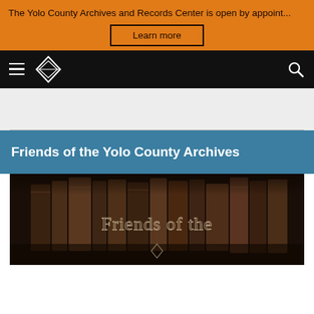The Yolo County Archives and Records Center is open by appoint...
Learn more
[Figure (logo): Diamond/gem shaped logo icon in white outline on black nav bar, with hamburger menu icon on left and search icon on right]
Friends of the Yolo County Archives
[Figure (photo): Sepia-toned photo of old leather-bound books with cursive text overlay reading 'Friends of the' and a diamond logo icon below]